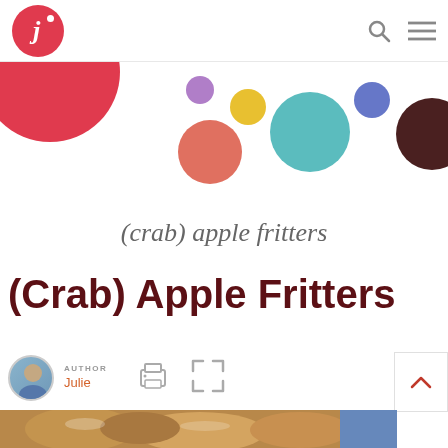[Figure (logo): Circular red logo with white italic J and dot, followed by colorful bubbles/circles decoration]
(crab) apple fritters
(Crab) Apple Fritters
AUTHOR Julie
[Figure (photo): Photo of apple fritters at bottom of page]